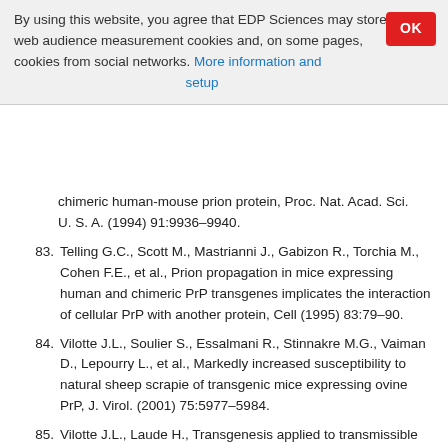By using this website, you agree that EDP Sciences may store web audience measurement cookies and, on some pages, cookies from social networks. More information and setup
chimeric human-mouse prion protein, Proc. Nat. Acad. Sci. U. S. A. (1994) 91:9936–9940.
83. Telling G.C., Scott M., Mastrianni J., Gabizon R., Torchia M., Cohen F.E., et al., Prion propagation in mice expressing human and chimeric PrP transgenes implicates the interaction of cellular PrP with another protein, Cell (1995) 83:79–90.
84. Vilotte J.L., Soulier S., Essalmani R., Stinnakre M.G., Vaiman D., Lepourry L., et al., Markedly increased susceptibility to natural sheep scrapie of transgenic mice expressing ovine PrP, J. Virol. (2001) 75:5977–5984.
85. Vilotte J.L., Laude H., Transgenesis applied to transmissible spongiform encephalopathies, Transgenic Res. (2002) 11:547–564.
86. Weissmann C., Flechsig E., PrP knock-out and PrP